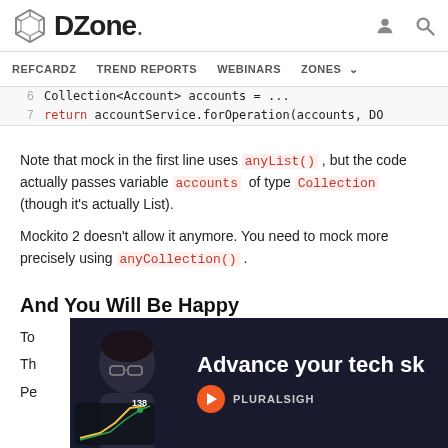DZone — REFCARDZ  TREND REPORTS  WEBINARS  ZONES
6   Collection<Account> accounts = ...
7   return accountService.forOperation(accounts, DO
Note that mock in the first line uses anyList(), but the code actually passes variable accounts of type Collection (though it's actually List).
Mockito 2 doesn't allow it anymore. You need to mock more precisely using anyCollection().
And You Will Be Happy
To
Th
Pe
[Figure (screenshot): Pluralsight advertisement overlay: dark background with a person wearing glasses, text 'Advance your tech s[kills]' and Pluralsight logo with '138' label on a chart graphic.]